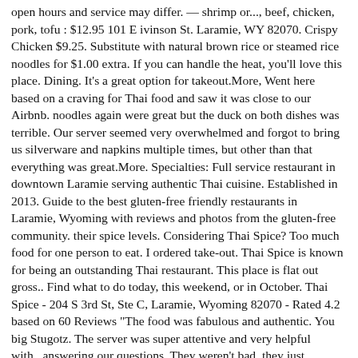open hours and service may differ. — shrimp or..., beef, chicken, pork, tofu : $12.95 101 E ivinson St. Laramie, WY 82070. Crispy Chicken $9.25. Substitute with natural brown rice or steamed rice noodles for $1.00 extra. If you can handle the heat, you'll love this place. Dining. It's a great option for takeout.More, Went here based on a craving for Thai food and saw it was close to our Airbnb. noodles again were great but the duck on both dishes was terrible. Our server seemed very overwhelmed and forgot to bring us silverware and napkins multiple times, but other than that everything was great.More. Specialties: Full service restaurant in downtown Laramie serving authentic Thai cuisine. Established in 2013. Guide to the best gluten-free friendly restaurants in Laramie, Wyoming with reviews and photos from the gluten-free community. their spice levels. Considering Thai Spice? Too much food for one person to eat. I ordered take-out. Thai Spice is known for being an outstanding Thai restaurant. This place is flat out gross.. Find what to do today, this weekend, or in October. Thai Spice - 204 S 3rd St, Ste C, Laramie, Wyoming 82070 - Rated 4.2 based on 60 Reviews "The food was fabulous and authentic. You big Stugotz. The server was super attentive and very helpful with...answering our questions. They weren't bad, they just weren't as good as we had hoped. thai.spice.laramie. Had the pot stickers (good with nice sauce), pad thai duck ( noodles were tasty and very ample, duck was very...over cooked) and roasted garlic with duck ( duck way wy over done, almost unchewable) All for $20. See restaurant menus, reviews, hours, photos, maps and directions. If